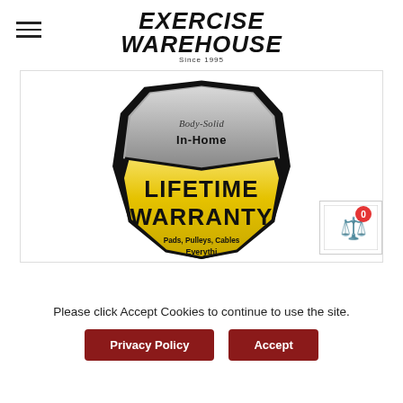EXERCISE WAREHOUSE Since 1995
[Figure (logo): Body-Solid In-Home Lifetime Warranty badge/shield logo in gold and silver with black text. Text reads: Body-Solid (script), In-Home, LIFETIME WARRANTY, Pads, Pulleys, Cables, Everythi...]
[Figure (other): Scale/balance icon with red notification badge showing 0]
Please click Accept Cookies to continue to use the site.
Privacy Policy
Accept